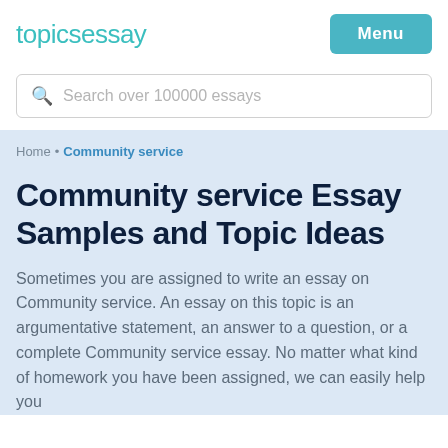topicsessay
Search over 100000 essays
Home • Community service
Community service Essay Samples and Topic Ideas
Sometimes you are assigned to write an essay on Community service. An essay on this topic is an argumentative statement, an answer to a question, or a complete Community service essay. No matter what kind of homework you have been assigned, we can easily help you